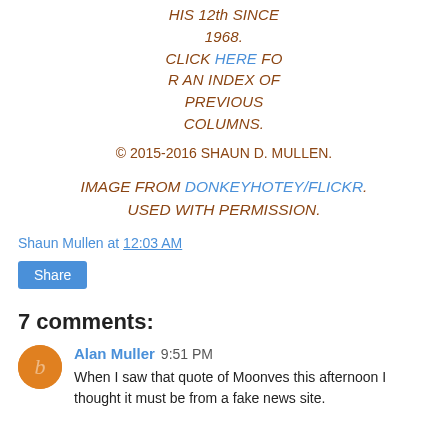HIS 12th SINCE 1968. CLICK HERE FOR AN INDEX OF PREVIOUS COLUMNS.
© 2015-2016 SHAUN D. MULLEN.
IMAGE FROM DONKEYHOTEY/FLICKR. USED WITH PERMISSION.
Shaun Mullen at 12:03 AM
Share
7 comments:
Alan Muller 9:51 PM
When I saw that quote of Moonves this afternoon I thought it must be from a fake news site.